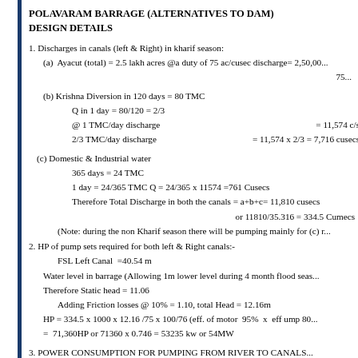POLAVARAM BARRAGE (ALTERNATIVES TO DAM) DESIGN DETAILS
1. Discharges in canals (left & Right) in kharif season:
(a) Ayacut (total) = 2.5 lakh acres @a duty of 75 ac/cusec discharge= 2,50,00... 75...
(b) Krishna Diversion in 120 days = 80 TMC
    Q in 1 day = 80/120 = 2/3
    @ 1 TMC/day discharge = 11,574 c/s
    2/3 TMC/day discharge = 11,574 x 2/3 = 7,716 cusecs
(c) Domestic & Industrial water
    365 days = 24 TMC
    1 day = 24/365 TMC Q = 24/365 x 11574 =761 Cusecs
    Therefore Total Discharge in both the canals = a+b+c= 11,810 cusecs
    or 11810/35.316 = 334.5 Cumecs
    (Note: during the non Kharif season there will be pumping mainly for (c) r...
2. HP of pump sets required for both left & Right canals:-
FSL Left Canal =40.54 m
Water level in barrage (Allowing 1m lower level during 4 month flood seas...
Therefore Static head = 11.06
Adding Friction losses @ 10% = 1.10, total Head = 12.16m
HP = 334.5 x 1000 x 12.16 /75 x 100/76 (eff. of motor 95% x eff ump 80...
= 71,360HP or 71360 x 0.746 = 53235 kw or 54MW
3. POWER CONSUMPTION FOR PUMPING FROM RIVER TO CANALS...
Data